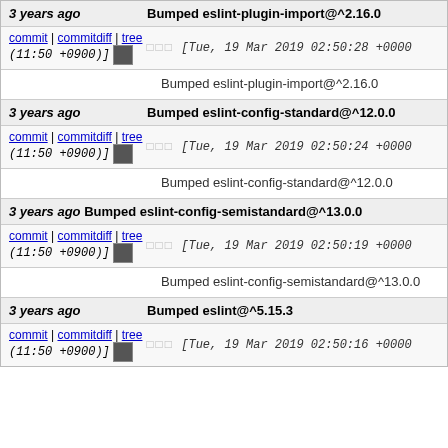3 years ago | Bumped eslint-plugin-import@^2.16.0 | commit | commitdiff | tree | [Tue, 19 Mar 2019 02:50:28 +0000 (11:50 +0900)] | Bumped eslint-plugin-import@^2.16.0
3 years ago | Bumped eslint-config-standard@^12.0.0 | commit | commitdiff | tree | [Tue, 19 Mar 2019 02:50:24 +0000 (11:50 +0900)] | Bumped eslint-config-standard@^12.0.0
3 years ago | Bumped eslint-config-semistandard@^13.0.0 | commit | commitdiff | tree | [Tue, 19 Mar 2019 02:50:19 +0000 (11:50 +0900)] | Bumped eslint-config-semistandard@^13.0.0
3 years ago | Bumped eslint@^5.15.3 | commit | commitdiff | tree | [Tue, 19 Mar 2019 02:50:16 +0000 (11:50 +0900)]